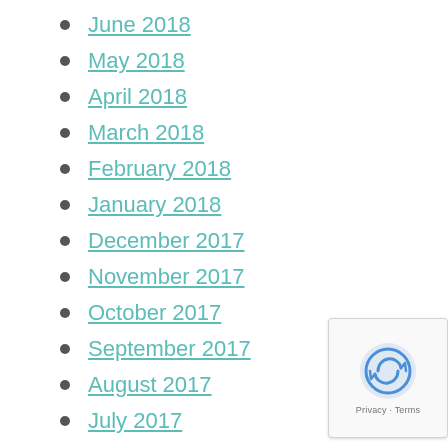June 2018
May 2018
April 2018
March 2018
February 2018
January 2018
December 2017
November 2017
October 2017
September 2017
August 2017
July 2017
June 2017